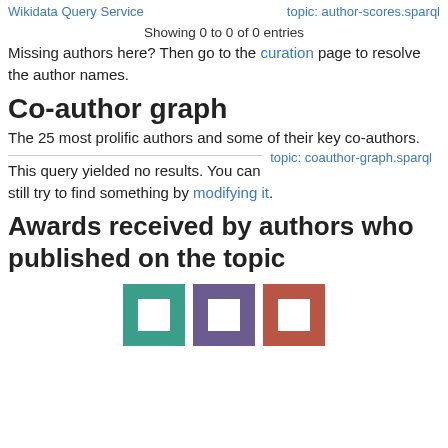Wikidata Query Service	topic: author-scores.sparql
Showing 0 to 0 of 0 entries
Missing authors here? Then go to the curation page to resolve the author names.
Co-author graph
The 25 most prolific authors and some of their key co-authors.
topic: coauthor-graph.sparql
This query yielded no results. You can still try to find something by modifying it.
Awards received by authors who published on the topic
[Figure (illustration): Three colored square icons: teal, purple, and red/brown, each with a white square hole in the center]